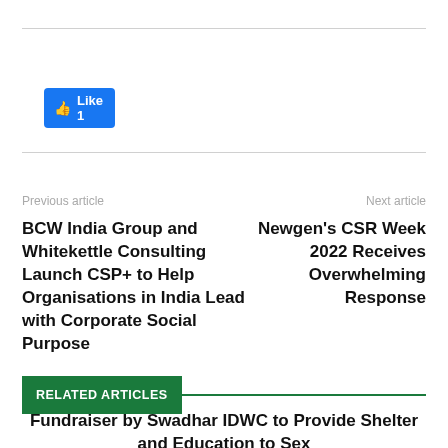[Figure (other): Facebook Like button showing 'Like 1']
Previous article
Next article
BCW India Group and Whitekettle Consulting Launch CSP+ to Help Organisations in India Lead with Corporate Social Purpose
Newgen's CSR Week 2022 Receives Overwhelming Response
RELATED ARTICLES
Fundraiser by Swadhar IDWC to Provide Shelter and Education to Sex